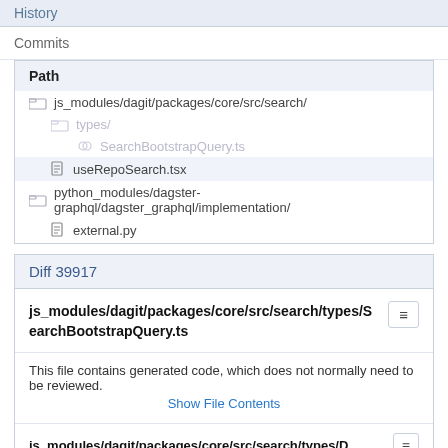History
Commits
Path
js_modules/dagit/packages/core/src/search/
types/
SearchBootstrapQuery.ts
useRepoSearch.tsx
python_modules/dagster-graphql/dagster_graphql/implementation/
external.py
Diff 39917
js_modules/dagit/packages/core/src/search/types/SearchBootstrapQuery.ts
This file contains generated code, which does not normally need to be reviewed.
Show File Contents
js_modules/dagit/packages/core/src/search/types/D...